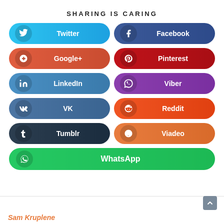SHARING IS CARING
[Figure (infographic): Social media sharing buttons grid: Twitter, Facebook, Google+, Pinterest, LinkedIn, Viber, VK, Reddit, Tumblr, Viadeo, WhatsApp]
Sam Kruplene